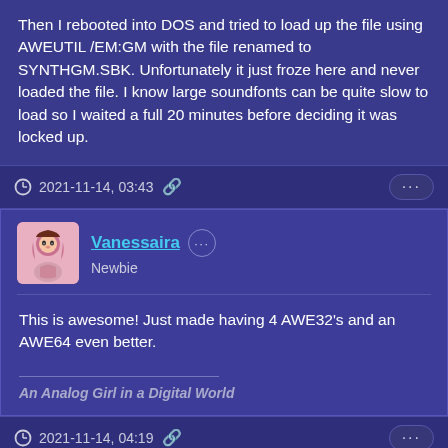Then I rebooted into DOS and tried to load up the file using AWEUTIL /EM:GM with the file renamed to SYNTHGM.SBK. Unfortunately it just froze here and never loaded the file. I know large soundfonts can be quite slow to load so I waited a full 20 minutes before deciding it was locked up.
2021-11-14, 03:43
Vanessaira
Newbie
This is awesome! Just made having 4 AWE32's and an AWE64 even better.
An Analog Girl in a Digital World
2021-11-14, 04:19